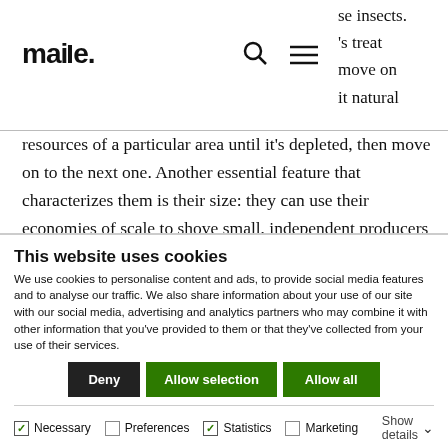maize. [logo] [search icon] [menu icon]
se insects. 's treat move on it natural resources of a particular area until it's depleted, then move on to the next one. Another essential feature that characterizes them is their size: they can use their economies of scale to shove small, independent producers out of the market easily.
This website uses cookies
We use cookies to personalise content and ads, to provide social media features and to analyse our traffic. We also share information about your use of our site with our social media, advertising and analytics partners who may combine it with other information that you've provided to them or that they've collected from your use of their services.
Deny | Allow selection | Allow all
Necessary  Preferences  Statistics  Marketing  Show details